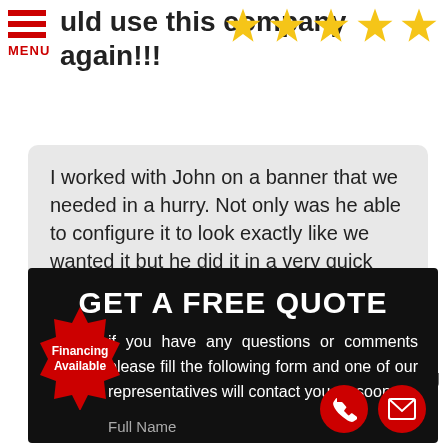uld use this company again!!! MENU
[Figure (infographic): Five gold star rating icons]
I worked with John on a banner that we needed in a hurry. Not only was he able to configure it to look exactly like we wanted it but he did it in a very quick and professional mann... read more
- Amy Lang
GET A FREE QUOTE
If you have any questions or comments please fill the following form and one of our representatives will contact you as soon as
[Figure (infographic): Red starburst badge with text Financing Available]
Full Name